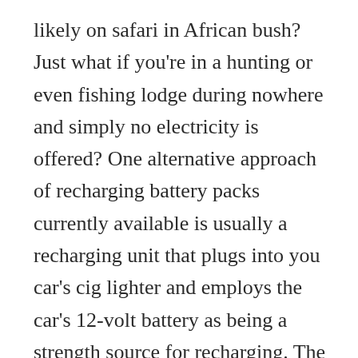likely on safari in African bush? Just what if you're in a hunting or even fishing lodge during nowhere and simply no electricity is offered? One alternative approach of recharging battery packs currently available is usually a recharging unit that plugs into you car's cig lighter and employs the car's 12-volt battery as being a strength source for recharging. The newest technological innovation utilizes solar energy to replenish your current battery's power offer.
One way in order to guarantee you won't experience an electrical scarcity on your subsequent trip is to carry several power packs and more than one particular charger. Just retain in mind the additional weight you'll end up being